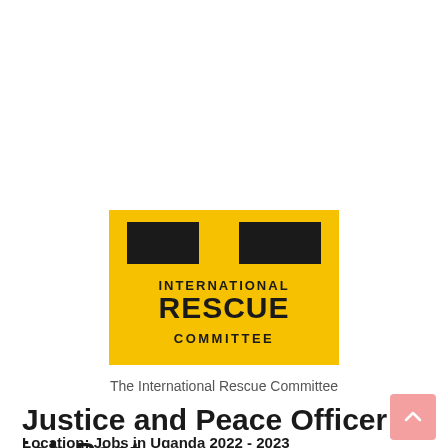[Figure (logo): International Rescue Committee logo — yellow/gold rectangle background with two black rectangular shapes at top forming abstract figure/arrow, text: INTERNATIONAL RESCUE COMMITTEE in black]
The International Rescue Committee
Justice and Peace Officer job Post
Location:  Jobs in Uganda 2022 - 2023